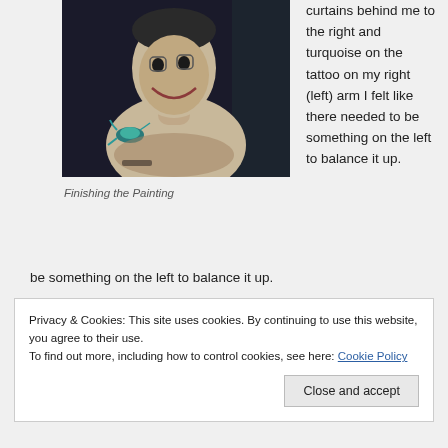[Figure (photo): A dark painting of a shirtless man with a clown-like face, smiling, with a blue-green lizard/gecko tattoo on his shoulder/arm, against a dark background with curtains.]
Finishing the Painting
curtains behind me to the right and turquoise on the tattoo on my right (left) arm I felt like there needed to be something on the left to balance it up.
Privacy & Cookies: This site uses cookies. By continuing to use this website, you agree to their use.
To find out more, including how to control cookies, see here: Cookie Policy
Close and accept